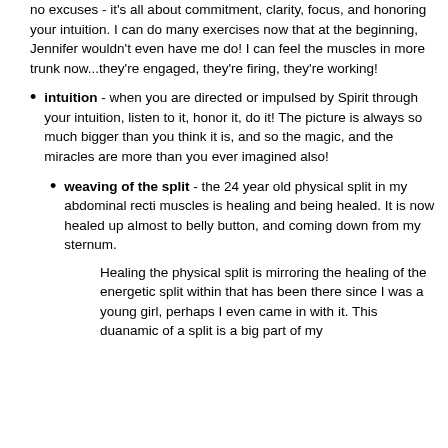no excuses - it's all about commitment, clarity, focus, and honoring your intuition. I can do many exercises now that at the beginning, Jennifer wouldn't even have me do! I can feel the muscles in more trunk now...they're engaged, they're firing, they're working!
intuition - when you are directed or impulsed by Spirit through your intuition, listen to it, honor it, do it! The picture is always so much bigger than you think it is, and so the magic, and the miracles are more than you ever imagined also!
weaving of the split - the 24 year old physical split in my abdominal recti muscles is healing and being healed. It is now healed up almost to belly button, and coming down from my sternum.
Healing the physical split is mirroring the healing of the energetic split within that has been there since I was a young girl, perhaps I even came in with it. This duanamic of a split is a big part of my